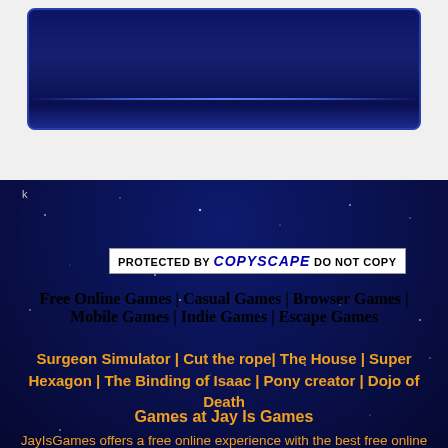[Figure (screenshot): Dark navy blue banner/header image with a horizontal highlight line near the bottom, white background area surrounding it]
k
[Figure (other): PROTECTED BY COPYSCAPE DO NOT COPY badge — white rectangle with black bold text and blue italic COPYSCAPE text]
Free Online Games | Casual Games | Browser Games | Mobile Games | Indie Games | Escape Games
Surgeon Simulator | Cut the rope| The House | Super Hexagon | The Binding of Isaac | Pony creator | Dojo of Death
Games at Jay Is Games
JayIsGames offers a free online experience with the best free online games. You can read our daily honest reviews and walkthroughs, play games, discuss about